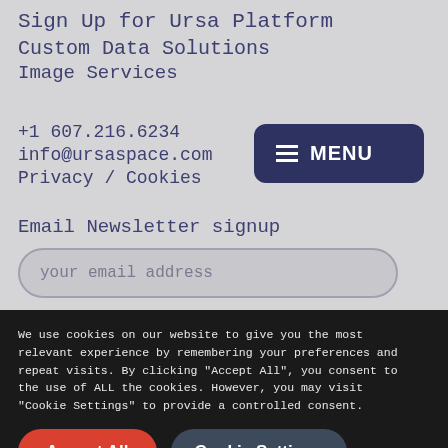Sign Up for Ursa Platform
Custom Data Solutions
Image Services
+1 607.216.6234
info@ursaspace.com
Privacy / Cookies
Email Newsletter signup
your email address
We use cookies on our website to give you the most relevant experience by remembering your preferences and repeat visits. By clicking "Accept All", you consent to the use of ALL the cookies. However, you may visit "Cookie Settings" to provide a controlled consent.
Accept All
Cookie Settings